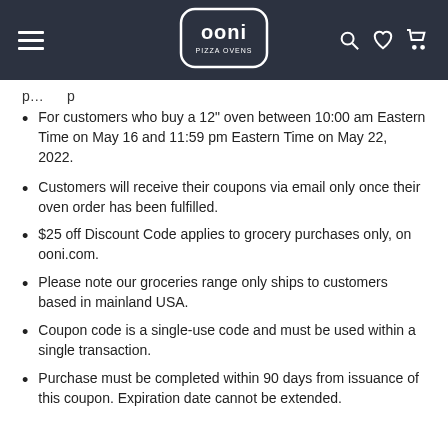ooni PIZZA OVENS
p…p
For customers who buy a 12" oven between 10:00 am Eastern Time on May 16 and 11:59 pm Eastern Time on May 22, 2022.
Customers will receive their coupons via email only once their oven order has been fulfilled.
$25 off Discount Code applies to grocery purchases only, on ooni.com.
Please note our groceries range only ships to customers based in mainland USA.
Coupon code is a single-use code and must be used within a single transaction.
Purchase must be completed within 90 days from issuance of this coupon. Expiration date cannot be extended.